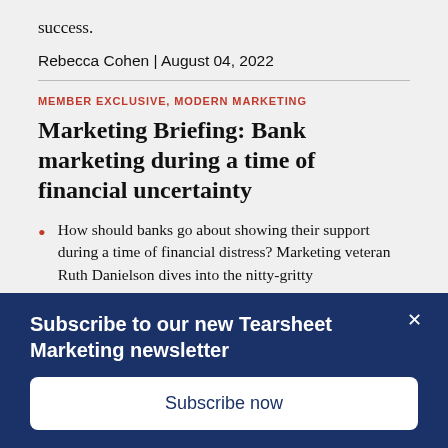success.
Rebecca Cohen | August 04, 2022
MEMBER EXCLUSIVE, MODERN MARKETING
Marketing Briefing: Bank marketing during a time of financial uncertainty
How should banks go about showing their support during a time of financial distress? Marketing veteran Ruth Danielson dives into the nitty-gritty
Subscribe to our new Tearsheet Marketing newsletter
Subscribe now